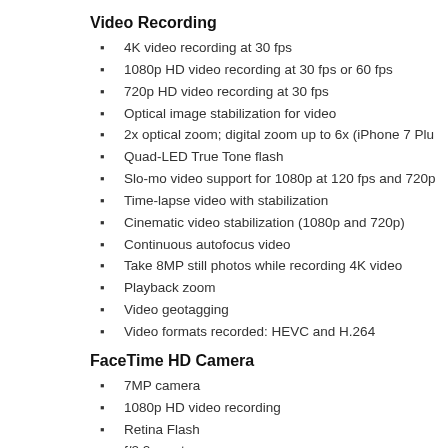Video Recording
4K video recording at 30 fps
1080p HD video recording at 30 fps or 60 fps
720p HD video recording at 30 fps
Optical image stabilization for video
2x optical zoom; digital zoom up to 6x (iPhone 7 Plu
Quad-LED True Tone flash
Slo-mo video support for 1080p at 120 fps and 720p
Time-lapse video with stabilization
Cinematic video stabilization (1080p and 720p)
Continuous autofocus video
Take 8MP still photos while recording 4K video
Playback zoom
Video geotagging
Video formats recorded: HEVC and H.264
FaceTime HD Camera
7MP camera
1080p HD video recording
Retina Flash
f/2.2 aperture